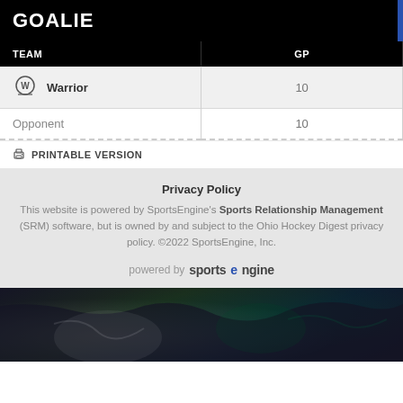GOALIE
| TEAM | GP |
| --- | --- |
| Warrior | 10 |
| Opponent | 10 |
PRINTABLE VERSION
Privacy Policy
This website is powered by SportsEngine's Sports Relationship Management (SRM) software, but is owned by and subject to the Ohio Hockey Digest privacy policy. ©2022 SportsEngine, Inc.
powered by sportsengine
[Figure (photo): Dark hockey equipment photo showing pads and jersey in dark blue and green tones]